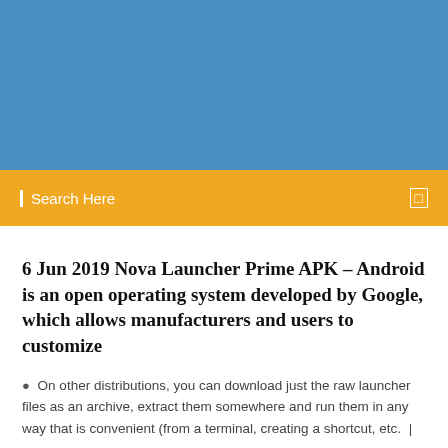[Figure (other): Blue banner/header image area at the top of the page]
Search Here
6 Jun 2019 Nova Launcher Prime APK – Android is an open operating system developed by Google, which allows manufacturers and users to customize
On other distributions, you can download just the raw launcher files as an archive, extract them somewhere and run them in any way that is convenient (from a terminal, creating a shortcut, etc.
2 Comments